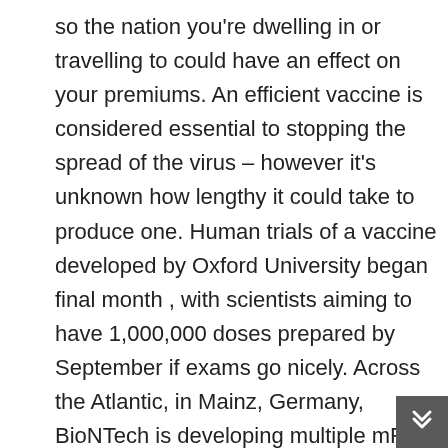so the nation you're dwelling in or travelling to could have an effect on your premiums. An efficient vaccine is considered essential to stopping the spread of the virus – however it's unknown how lengthy it could take to produce one. Human trials of a vaccine developed by Oxford University began final month , with scientists aiming to have 1,000,000 doses prepared by September if exams go nicely. Across the Atlantic, in Mainz, Germany, BioNTech is developing multiple mRNA vaccines for the coronavirus. The drugmaker had already been working with Pfizer on an influenza vaccine for over a year when COVID-19 emerged as a global menace. Changing Dynamics of Crisis Management: Usually, after every disaster – whether it's a terror assault or an economic disaster – the state heads